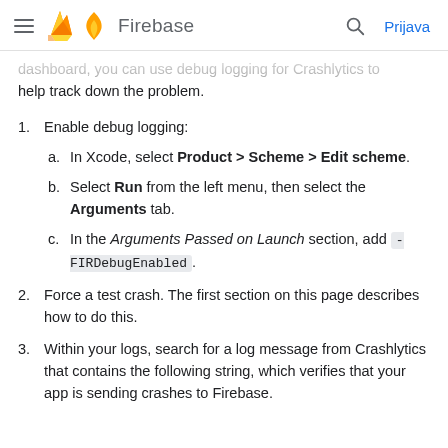Firebase — Prijava
dashboard, you can use debug logging for Crashlytics to help track down the problem.
1. Enable debug logging:
a. In Xcode, select Product > Scheme > Edit scheme.
b. Select Run from the left menu, then select the Arguments tab.
c. In the Arguments Passed on Launch section, add -FIRDebugEnabled.
2. Force a test crash. The first section on this page describes how to do this.
3. Within your logs, search for a log message from Crashlytics that contains the following string, which verifies that your app is sending crashes to Firebase.